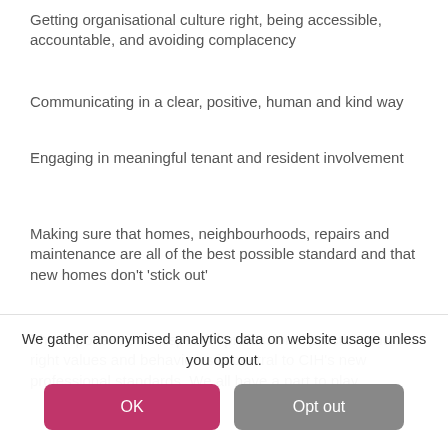Getting organisational culture right, being accessible, accountable, and avoiding complacency
Communicating in a clear, positive, human and kind way
Engaging in meaningful tenant and resident involvement
Making sure that homes, neighbourhoods, repairs and maintenance are all of the best possible standard and that new homes don’t ‘stick out’
The importance of respectful professional practice and the right values and behaviours is central to CIH’s new professional standards. We all have a part to play
We gather anonymised analytics data on website usage unless you opt out.
OK   Opt out